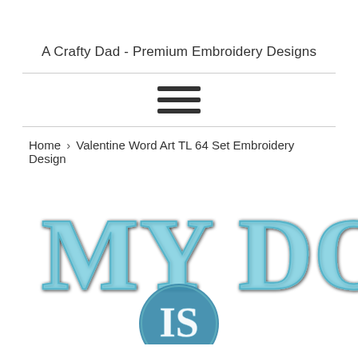A Crafty Dad - Premium Embroidery Designs
[Figure (illustration): Hamburger menu icon with three horizontal bars]
Home › Valentine Word Art TL 64 Set Embroidery Design
[Figure (photo): Embroidery design showing 'MY DOG IS' text in decorative teal/blue stitched letters with 'IS' inside a circular medallion]